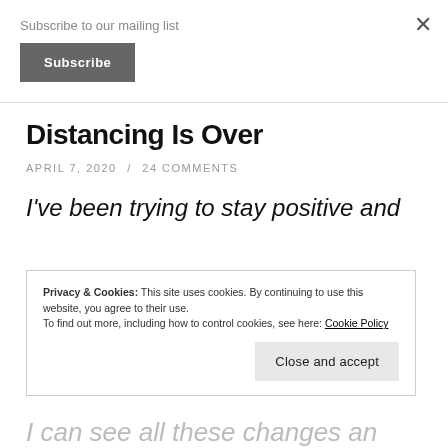Subscribe to our mailing list
Subscribe
Distancing Is Over
APRIL 7, 2020 / 24 COMMENTS
I've been trying to stay positive and
Privacy & Cookies: This site uses cookies. By continuing to use this website, you agree to their use. To find out more, including how to control cookies, see here: Cookie Policy
Close and accept